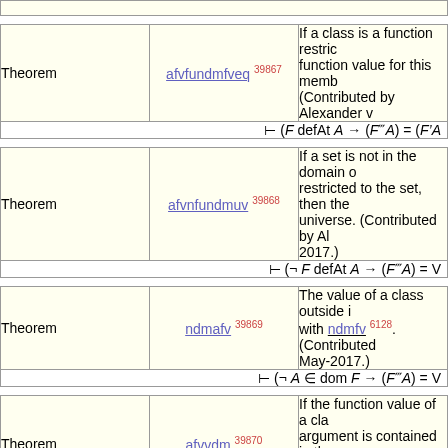| Type | Name | Description |
| --- | --- | --- |
| Theorem | afvfundmfveq 39867 | If a class is a function restric... function value for this memb... (Contributed by Alexander v... |
|  | ⊢ (F defAt A → (F'''A) = (F'A |  |
| Theorem | afvnfundmuv 39868 | If a set is not in the domain o... restricted to the set, then the ... universe. (Contributed by Al... 2017.) |
|  | ⊢ (¬ F defAt A → (F'''A) = V |  |
| Theorem | ndmafv 39869 | The value of a class outside i... with ndmfv 6128. (Contributed... May-2017.) |
|  | ⊢ (¬ A ∈ dom F → (F'''A) = V |  |
| Theorem | afvvdm 39870 | If the function value of a cla... argument is contained in the ... Alexander van der Vekens, 2... |
|  | ⊢ ((F'''A) ∈ B → A ∈ dom F |  |